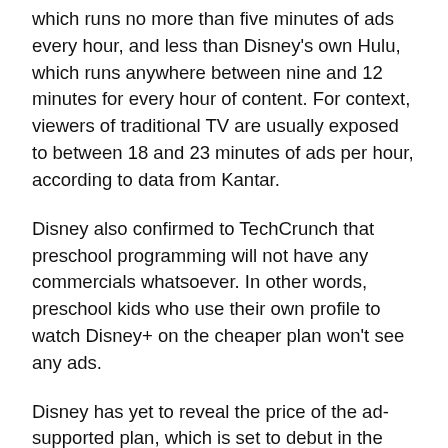which runs no more than five minutes of ads every hour, and less than Disney's own Hulu, which runs anywhere between nine and 12 minutes for every hour of content. For context, viewers of traditional TV are usually exposed to between 18 and 23 minutes of ads per hour, according to data from Kantar.
Disney also confirmed to TechCrunch that preschool programming will not have any commercials whatsoever. In other words, preschool kids who use their own profile to watch Disney+ on the cheaper plan won't see any ads.
Disney has yet to reveal the price of the ad-supported plan, which is set to debut in the U.S. in late 2022, but Disney executives suggested during the company's recent earnings call that once the cheaper plan launches there will likely be a price increase to the existing ad-free plan, which is currently $7.99 a month.